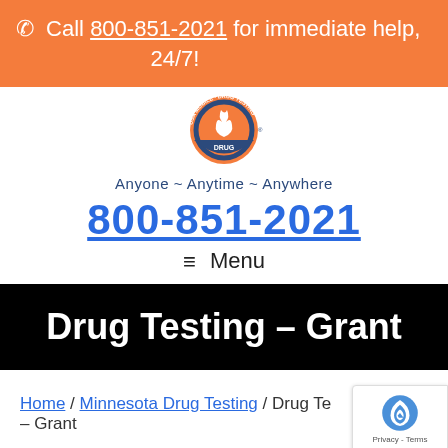☎ Call 800-851-2021 for immediate help, 24/7!
[Figure (logo): USA Mobile Drug Testing circular logo with flame icon, orange and blue color scheme. Tagline: Anyone ~ Anytime ~ Anywhere]
Anyone ~ Anytime ~ Anywhere
800-851-2021
≡ Menu
Drug Testing – Grant
Home / Minnesota Drug Testing / Drug Testing – Grant